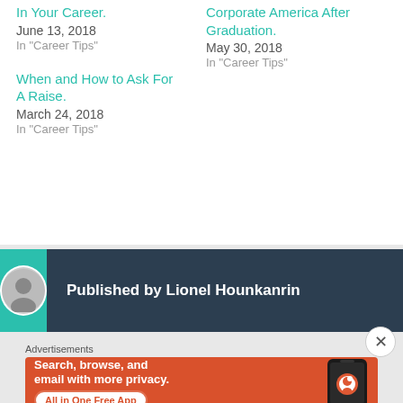In Your Career.
June 13, 2018
In "Career Tips"
Corporate America After Graduation.
May 30, 2018
In "Career Tips"
When and How to Ask For A Raise.
March 24, 2018
In "Career Tips"
Published by Lionel Hounkanrin
Advertisements
[Figure (infographic): DuckDuckGo advertisement banner: orange background with text 'Search, browse, and email with more privacy. All in One Free App' and an illustration of a smartphone with the DuckDuckGo logo.]